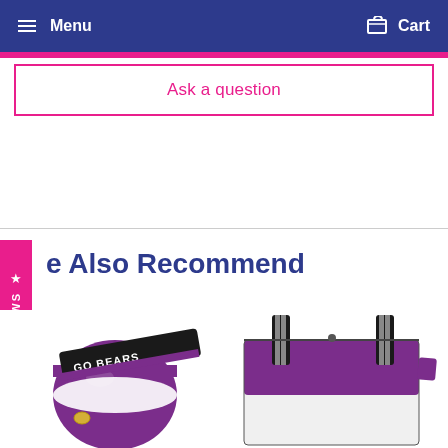Menu  Cart
Ask a question
We Also Recommend
[Figure (photo): Purple and white ball with black and white 'GO BEARS' strap/keychain accessory]
[Figure (photo): Purple tote bag with black and white patterned straps]